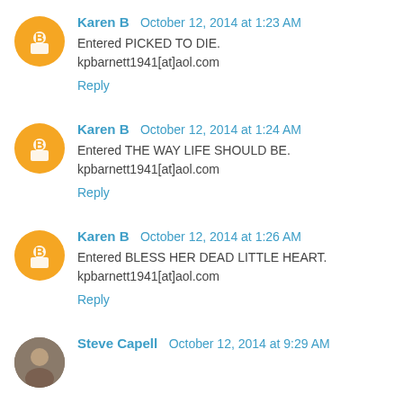Karen B  October 12, 2014 at 1:23 AM
Entered PICKED TO DIE.
kpbarnett1941[at]aol.com
Reply
Karen B  October 12, 2014 at 1:24 AM
Entered THE WAY LIFE SHOULD BE.
kpbarnett1941[at]aol.com
Reply
Karen B  October 12, 2014 at 1:26 AM
Entered BLESS HER DEAD LITTLE HEART.
kpbarnett1941[at]aol.com
Reply
Steve Capell  October 12, 2014 at 9:29 AM